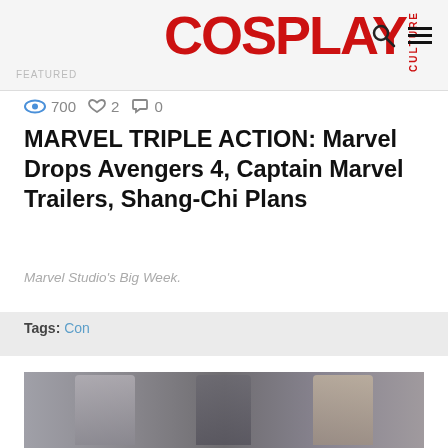COSPLAY CULTURE
700  2  0
MARVEL TRIPLE ACTION: Marvel Drops Avengers 4, Captain Marvel Trailers, Shang-Chi Plans
Marvel Studio's Big Week.
Tags: Con
[Figure (photo): Three women in superhero/cosplay costumes standing together indoors]